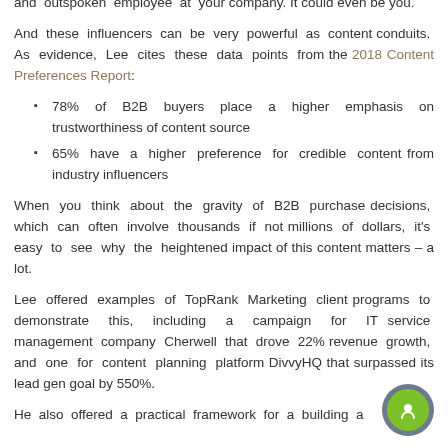recognizable executive within your industry. Or a knowledgeable and outspoken employee at your company. It could even be you.
And these influencers can be very powerful as content conduits. As evidence, Lee cites these data points from the 2018 Content Preferences Report:
78% of B2B buyers place a higher emphasis on trustworthiness of content source
65% have a higher preference for credible content from industry influencers
When you think about the gravity of B2B purchase decisions, which can often involve thousands if not millions of dollars, it's easy to see why the heightened impact of this content matters – a lot.
Lee offered examples of TopRank Marketing client programs to demonstrate this, including a campaign for IT service management company Cherwell that drove 22% revenue growth, and one for content planning platform DivvyHQ that surpassed its lead gen goal by 550%.
He also offered a practical framework for a building a